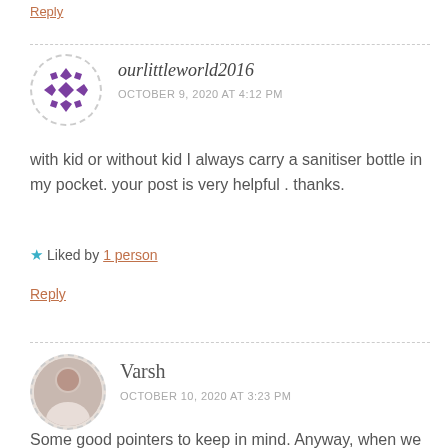Reply
ourlittleworld2016
OCTOBER 9, 2020 AT 4:12 PM
with kid or without kid I always carry a sanitiser bottle in my pocket. your post is very helpful . thanks.
Liked by 1 person
Reply
Varsh
OCTOBER 10, 2020 AT 3:23 PM
Some good pointers to keep in mind. Anyway, when we